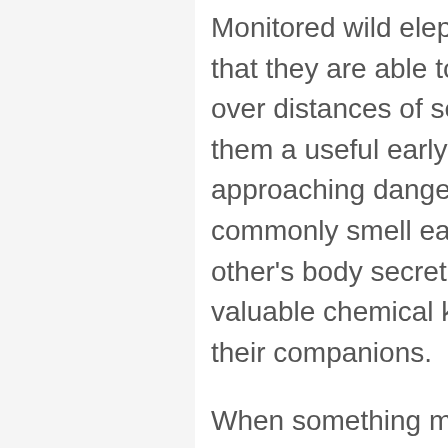Monitored wild elephants have shown that they are able to pick up smells over distances of several miles, giving them a useful early warning system of approaching danger. Elephants also commonly smell each other and each other's body secretions to obtain valuable chemical knowledge about their companions.
When something more than smell is required, elephants use the trunk tip as a chemical receptor – allowing them to obtain information